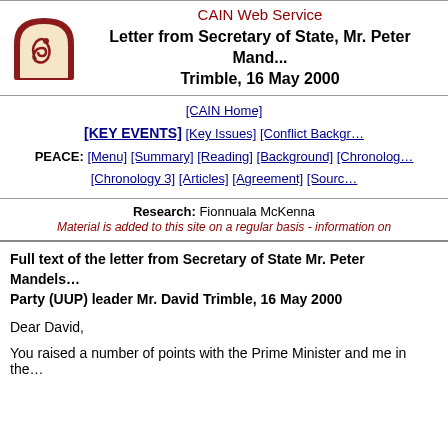CAIN Web Service
Letter from Secretary of State, Mr. Peter Mandelson, to UUP leader Mr. David Trimble, 16 May 2000
[CAIN Home] [KEY EVENTS] [Key Issues] [Conflict Background] PEACE: [Menu] [Summary] [Reading] [Background] [Chronology] [Chronology 3] [Articles] [Agreement] [Sources]
Research: Fionnuala McKenna
Material is added to this site on a regular basis - information on
Full text of the letter from Secretary of State Mr. Peter Mandelson to Ulster Unionist Party (UUP) leader Mr. David Trimble, 16 May 2000
Dear David,
You raised a number of points with the Prime Minister and me in the